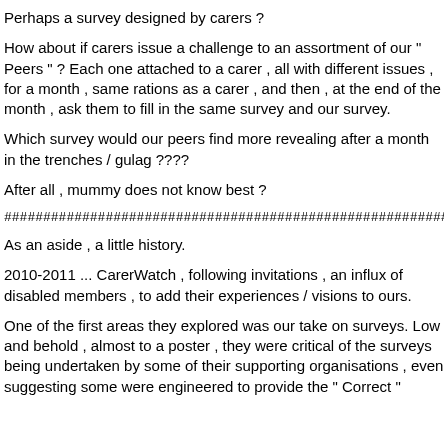Perhaps a survey designed by carers ?
How about if carers issue a challenge to an assortment of our " Peers " ? Each one attached to a carer , all with different issues , for a month , same rations as a carer , and then , at the end of the month , ask them to fill in the same survey and our survey.
Which survey would our peers find more revealing after a month in the trenches / gulag ????
After all , mummy does not know best ?
##########################################################
As an aside , a little history.
2010-2011 ... CarerWatch , following invitations , an influx of disabled members , to add their experiences / visions to ours.
One of the first areas they explored was our take on surveys. Low and behold , almost to a poster , they were critical of the surveys being undertaken by some of their supporting organisations , even suggesting some were engineered to provide the " Correct "